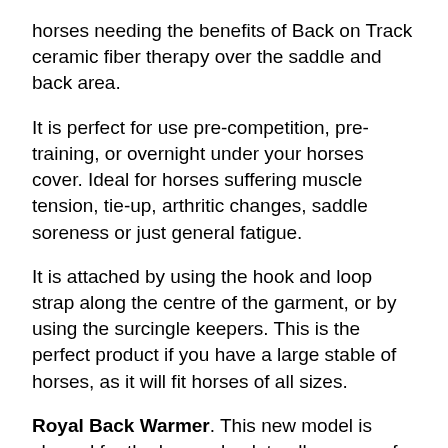horses needing the benefits of Back on Track ceramic fiber therapy over the saddle and back area.
It is perfect for use pre-competition, pre-training, or overnight under your horses cover. Ideal for horses suffering muscle tension, tie-up, arthritic changes, saddle soreness or just general fatigue.
It is attached by using the hook and loop strap along the centre of the garment, or by using the surcingle keepers. This is the perfect product if you have a large stable of horses, as it will fit horses of all sizes.
Royal Back Warmer. This new model is shaped for the horses back to allow space for the wither. The Welltex fabric offers therapeutic relief for aching and tired backs, muscle strain, cold backs etc, always keeping the muscles supple and warm, and increasing your horses wellbeing. It has a surcingle keeper on both sides for girth fitting and a fillet string for under the tail. To protect the skin, it is made from one of the